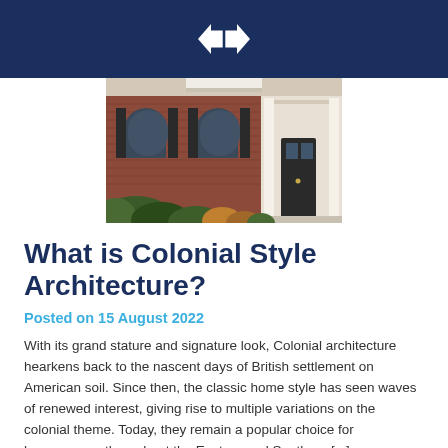[Figure (photo): Photograph of a Colonial-style brick home with arched windows, shutters, and landscaped shrubs in front]
What is Colonial Style Architecture?
Posted on 15 August 2022
With its grand stature and signature look, Colonial architecture hearkens back to the nascent days of British settlement on American soil. Since then, the classic home style has seen waves of renewed interest, giving rise to multiple variations on the colonial theme. Today, they remain a popular choice for homeowners throughout the Eastern and Southern [...]
READ MORE >